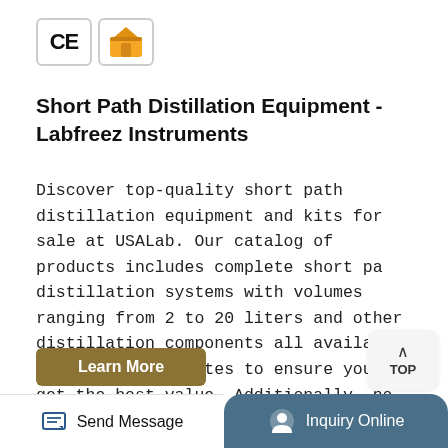[Figure (logo): CE certification badge and gold supplier/shop badge icons]
Short Path Distillation Equipment - Labfreez Instruments
Discover top-quality short path distillation equipment and kits for sale at USALab. Our catalog of products includes complete short path distillation systems with volumes ranging from 2 to 20 liters and other distillation components all available at competitive rates to ensure you get the best value. Additionally, no matter which used short path distillation equipment for sale you ...
[Figure (other): TOP scroll-to-top button with upward chevron arrow]
Learn More
Send Message | Inquiry Online